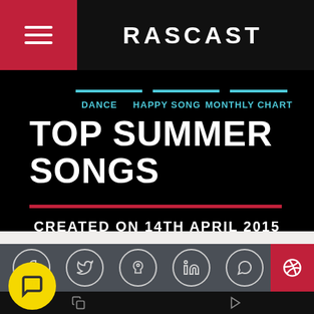RASCAST
TOP SUMMER SONGS
DANCE   HAPPY SONG   MONTHLY CHART
CREATED ON 14TH APRIL 2015
[Figure (screenshot): Social media share icons (Facebook, Twitter, Pinterest, LinkedIn, WhatsApp) in circles on a dark gray bar, with a red button partially visible on the right, and a yellow chat bubble icon at bottom left. Bottom navigation bar with copy and play icons.]